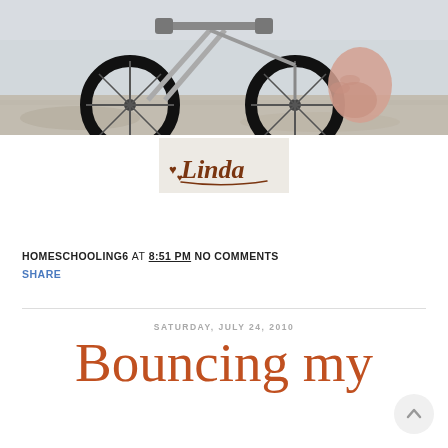[Figure (photo): Close-up photo of a child bicycle with dark tires, handlebars, and fork visible against a concrete/asphalt background. A person's hand is visible near the wheel.]
[Figure (logo): Signature logo reading 'Linda' in brown italic script with decorative hearts, on a light beige background.]
HOMESCHOOLING6 AT 8:51 PM NO COMMENTS
SHARE
SATURDAY, JULY 24, 2010
Bouncing my